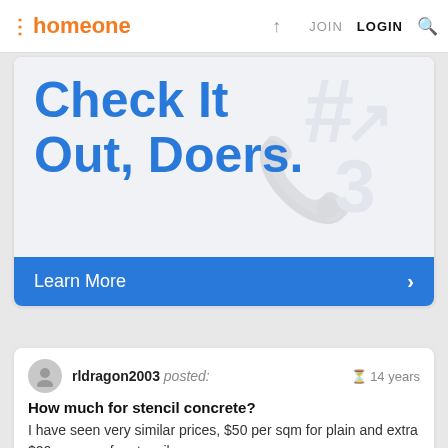homeone  JOIN  LOGIN
[Figure (screenshot): Advertisement banner with text 'Check It Out, Doers.' in blue on a light background, with a 'Learn More' blue button bar at the bottom]
rldragon2003 posted: 14 years
How much for stencil concrete?
I have seen very similar prices, $50 per sqm for plain and extra $20 per sqm for stencil.
Does the price include GST and excavating?
Although one of my customers got lucky…
8